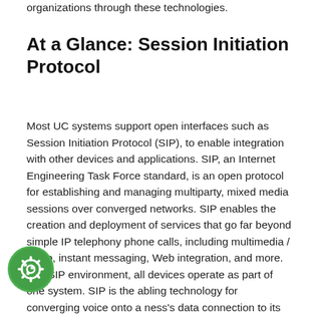organizations through these technologies.
At a Glance: Session Initiation Protocol
Most UC systems support open interfaces such as Session Initiation Protocol (SIP), to enable integration with other devices and applications. SIP, an Internet Engineering Task Force standard, is an open protocol for establishing and managing multiparty, mixed media sessions over converged networks. SIP enables the creation and deployment of services that go far beyond simple IP telephony phone calls, including multimedia / video, instant messaging, Web integration, and more. In a SIP environment, all devices operate as part of one system. SIP is the abling technology for converging voice onto a ness's data connection to its service provider. This eliminates much of the cost and complexity of using
[Figure (illustration): Green cookie/settings icon in the bottom left corner of the page]